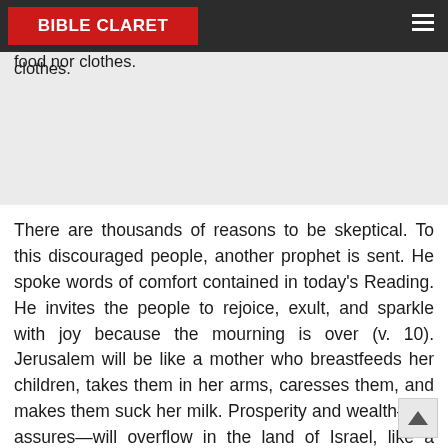people live in miserable conditions: the land is occupied by exploiters, and the poor have neither house nor food nor clothes.
BIBLE CLARET
There are thousands of reasons to be skeptical. To this discouraged people, another prophet is sent. He spoke words of comfort contained in today's Reading. He invites the people to rejoice, exult, and sparkle with joy because the mourning is over (v. 10). Jerusalem will be like a mother who breastfeeds her children, takes them in her arms, caresses them, and makes them suck her milk. Prosperity and wealth—he assures—will overflow in the land of Israel, like a torrent (vv. 11-12).
Now, when someone asks about this...